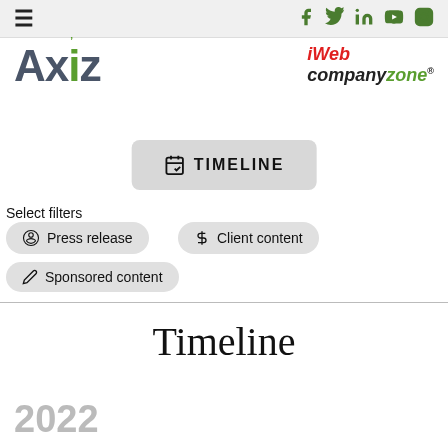Navigation header with hamburger menu and social icons (Facebook, Twitter, LinkedIn, YouTube, Instagram)
[Figure (logo): Axiz company logo in dark grey with green accent mark above the i]
[Figure (logo): iWeb companyzone logo with red iWeb text and green zone text]
[Figure (other): Timeline button with calendar/sort icon]
Select filters
Press release
Client content
Sponsored content
Timeline
2022